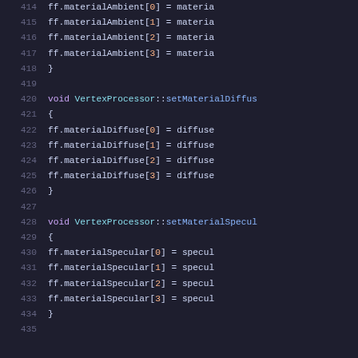Source code excerpt showing VertexProcessor methods: setMaterialAmbient (lines 415-418), setMaterialDiffuse (lines 420-426), setMaterialSpecular (lines 428-434)